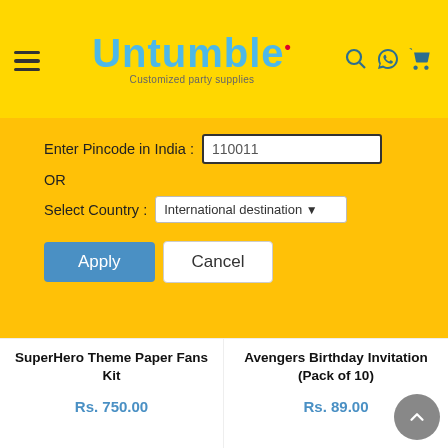[Figure (screenshot): Untumble website header with yellow background, hamburger menu, Untumble logo in blue cursive text with tagline 'Customized party supplies', and icons for search, WhatsApp, and cart]
[Figure (screenshot): Pincode entry modal overlay on yellow/amber background with input field showing '110011', OR text, country dropdown showing 'International destination', Apply and Cancel buttons]
[Figure (photo): SuperHero Theme Paper Fans Kit - birthday decoration set with Avengers characters, Happy Birthday banner, balloons]
[Figure (photo): Avengers Birthday Invitation card showing Avengers team with Avengers logo]
SuperHero Theme Paper Fans Kit
Rs. 750.00
Avengers Birthday Invitation (Pack of 10)
Rs. 89.00